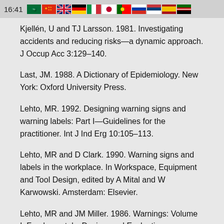16:41
Kjellén, U and TJ Larsson. 1981. Investigating accidents and reducing risks—a dynamic approach. J Occup Acc 3:129–140.
Last, JM. 1988. A Dictionary of Epidemiology. New York: Oxford University Press.
Lehto, MR. 1992. Designing warning signs and warning labels: Part I—Guidelines for the practitioner. Int J Ind Erg 10:105–113.
Lehto, MR and D Clark. 1990. Warning signs and labels in the workplace. In Workspace, Equipment and Tool Design, edited by A Mital and W Karwowski. Amsterdam: Elsevier.
Lehto, MR and JM Miller. 1986. Warnings: Volume I: Fundamentals, Design, and Evaluation Methodologies. Ann Arbor, MI: Fuller Technical Publications.
Leplat, J. 1978. Accident analyses and work analyses. J...